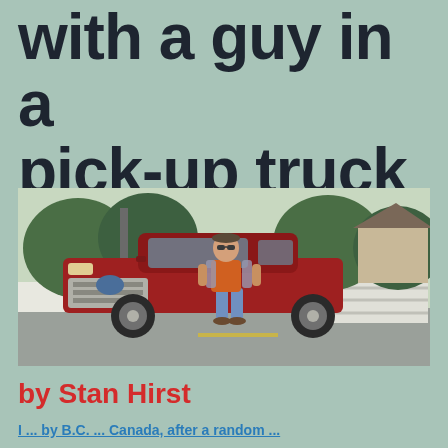with a guy in a pick-up truck
[Figure (photo): A man standing in front of a red Ford F-150 pickup truck on a suburban street. The man is wearing jeans, an orange shirt, and a plaid jacket with sunglasses. Trees and a white fence are visible in the background.]
by Stan Hirst
I... by B.C.... Canada, after a random...